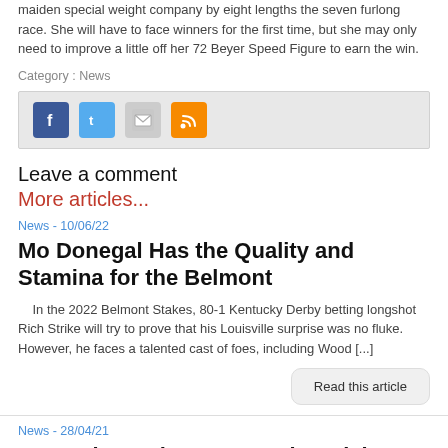maiden special weight company by eight lengths the seven furlong race. She will have to face winners for the first time, but she may only need to improve a little off her 72 Beyer Speed Figure to earn the win.
Category : News
[Figure (other): Social sharing icons: Facebook, Twitter, Email, RSS]
Leave a comment
More articles...
News - 10/06/22
Mo Donegal Has the Quality and Stamina for the Belmont
In the 2022 Belmont Stakes, 80-1 Kentucky Derby betting longshot Rich Strike will try to prove that his Louisville surprise was no fluke. However, he faces a talented cast of foes, including Wood [...]
Read this article
News - 28/04/21
Kentucky Derby 2021 Betting Picks